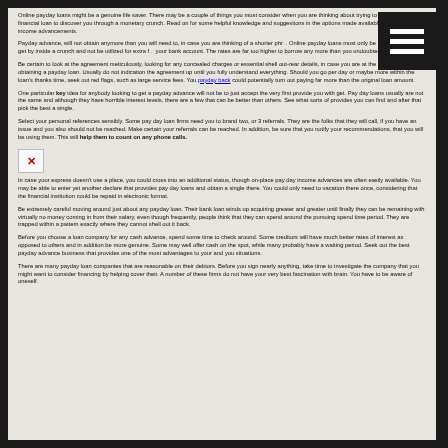Online payday loans might be a genuine life saver. There may be a couple of things you must consider when you are thinking about trying to get this sort of financial loan to discover you through a monetary crunch. Read on for some helpful knowledge and suggestions in the options made available from payday income advancements.
Payday advance, will not obtain anymore than you will need to, in case you are thinking of a shorter phrase. Online payday loans must only be used to help you get by inside a crunch and not be utilized for extra funds your bank account. The rates are far too higher to borrow any more than you undoubtedly need.
Be certain to look at the agreement meticulously, looking for any concealed charges or essential shell out-rear details, in case you are at the same time of obtaining a payday loan. Usually do not indication the agreement up until you fully understand everything. Should you go per day or maybe more within the loan's thanks time, seek out red flags, such as large service fees. You payday back could potentially turn out paying far more than the original loan amount.
One particular key idea for anybody looking to get a payday advance will not be to just accept the very first provide you with get. Pay day loans usually are not the same and although they have horrible interest levels, there are a few that can be better than others. See what sorts of provides you can find and after that pick the best a single.
Select your personal references sensibly. Some pay day loan firms need you to brand two, or 3 referrals. They are the folks that they will call, if you have an issue and you also should not be reached. Make certain your referrals can be reached. In addition, be sure that you notify your recommendations, that you will be using them. This will help them to count on any phone calls.
[Figure (other): Broken image placeholder with red X mark]
In case your express doesn't use a place, you could cross into an additional status, though on-place pay day income advances are often easily available. You may be able to enter yet another declare that provides pay day loans and obtain a single there. You could only need to vacation there once, considering that the financial institution could be repaid in electronic format.
Be extremely careful moving around just about any payday loan. Their bank loan winds up acquiring greater and greater until finally they can be remaining with virtually no money coming in from their salary, even though frequently, people think that they can spend around the pursuing spend time period. They are trapped within a pattern exactly where they cannot shell out it back.
Before you choose a loan company for any cash advance, spend some time to check around. Some creditors will have much better rates of interest as opposed to others and in addition be more genuine. Some may well offer cash on the spot, while many probably have a waiting period. Seek out the best payday advance business that provides one of the most advantages to your and you situations.
There are many payday loan companies that are reasonable on their debtors. Before you sign nearly anything, take time to investigate the company that you might want to consider financing by helping cover their. A number of these firms do not have your very best fascination with brain. You have to be aware of oneself.